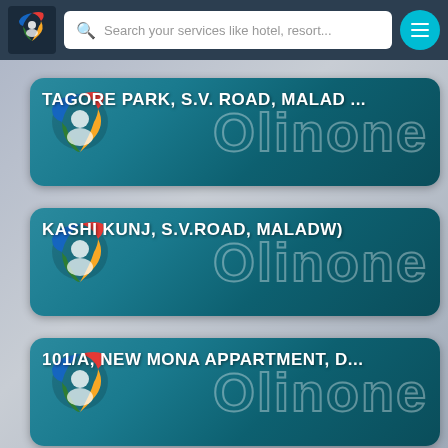[Figure (screenshot): Mobile app screenshot showing a navigation/search bar at top with a colorful pin logo, search field reading 'Search your services like hotel, resort...', and a teal menu button. Below are three location cards each showing 'Olinone' branding with addresses: 'TAGORE PARK, S.V. ROAD, MALAD ...', 'KASHI KUNJ, S.V.ROAD, MALADW)', and '101/A, NEW MONA APPARTMENT, D...']